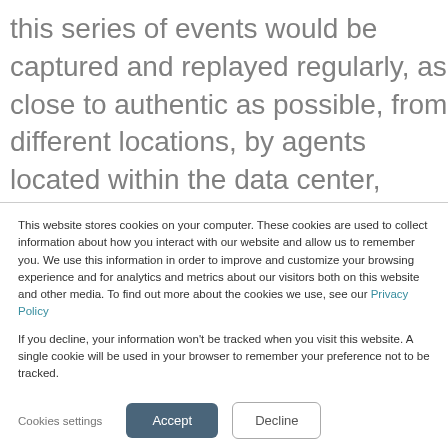this series of events would be captured and replayed regularly, as close to authentic as possible, from different locations, by agents located within the data center, behind the firewall, to cloud-based agents or on mobile devices.
This website stores cookies on your computer. These cookies are used to collect information about how you interact with our website and allow us to remember you. We use this information in order to improve and customize your browsing experience and for analytics and metrics about our visitors both on this website and other media. To find out more about the cookies we use, see our Privacy Policy
If you decline, your information won't be tracked when you visit this website. A single cookie will be used in your browser to remember your preference not to be tracked.
Cookies settings | Accept | Decline